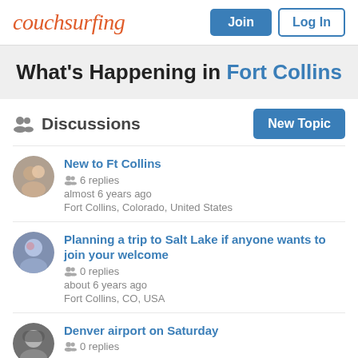couchsurfing — Join | Log In
What's Happening in Fort Collins
Discussions
New to Ft Collins
6 replies
almost 6 years ago
Fort Collins, Colorado, United States
Planning a trip to Salt Lake if anyone wants to join your welcome
0 replies
about 6 years ago
Fort Collins, CO, USA
Denver airport on Saturday
0 replies